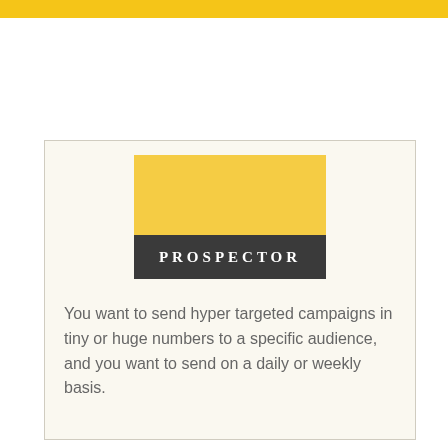[Figure (logo): Prospector logo: yellow rectangle on top, dark gray rectangle on bottom with 'PROSPECTOR' text in white serif letters with letter-spacing]
You want to send hyper targeted campaigns in tiny or huge numbers to a specific audience, and you want to send on a daily or weekly basis.